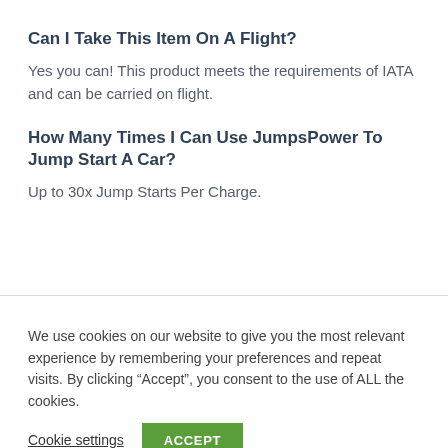Can I Take This Item On A Flight?
Yes you can! This product meets the requirements of IATA and can be carried on flight.
How Many Times I Can Use JumpsPower To Jump Start A Car?
Up to 30x Jump Starts Per Charge.
We use cookies on our website to give you the most relevant experience by remembering your preferences and repeat visits. By clicking “Accept”, you consent to the use of ALL the cookies.